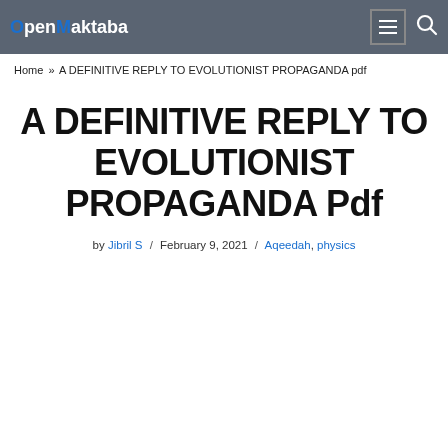OpenMaktaba
Home » A DEFINITIVE REPLY TO EVOLUTIONIST PROPAGANDA pdf
A DEFINITIVE REPLY TO EVOLUTIONIST PROPAGANDA Pdf
by Jibril S / February 9, 2021 / Aqeedah, physics